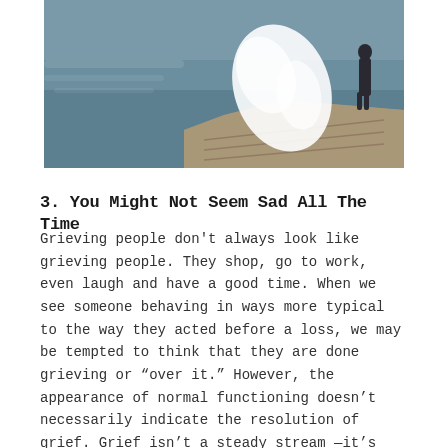[Figure (photo): A person standing on rocky coastal cliffs watching large ocean waves crash against the rocks. The scene shows turbulent waters with white spray from the waves.]
3. You Might Not Seem Sad All The Time
Grieving people don't always look like grieving people. They shop, go to work, even laugh and have a good time. When we see someone behaving in ways more typical to the way they acted before a loss, we may be tempted to think that they are done grieving or “over it.” However, the appearance of normal functioning doesn’t necessarily indicate the resolution of grief. Grief isn’t a steady stream —it’s heavy waves, still waters, and everything